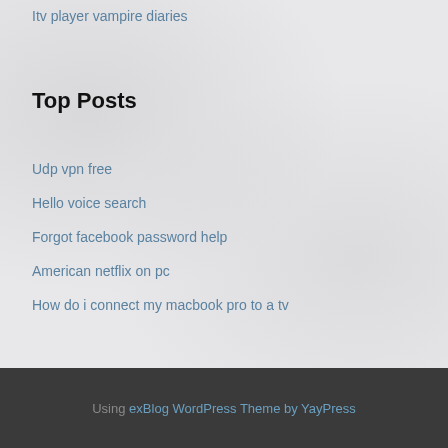Itv player vampire diaries
Top Posts
Udp vpn free
Hello voice search
Forgot facebook password help
American netflix on pc
How do i connect my macbook pro to a tv
Using exBlog WordPress Theme by YayPress